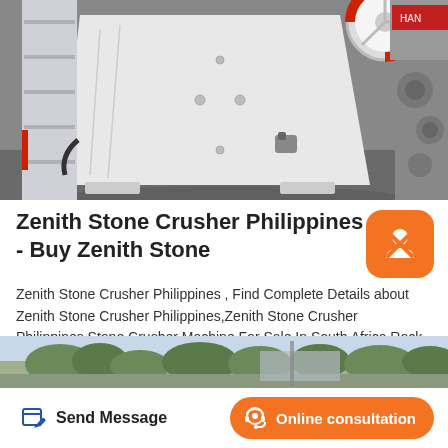[Figure (photo): Industrial jaw crusher machine in a factory setting, white painted body, red flywheel visible at top right, other machinery in background]
Zenith Stone Crusher Philippines - Buy Zenith Stone
Zenith Stone Crusher Philippines , Find Complete Details about Zenith Stone Crusher Philippines,Zenith Stone Crusher Philippines,Stone Crusher Machine For Sale In South Africa,Rock Crushers For Sale South Africa from Crusher Supplier or …Barges for rent in philippines Description : Head issuer compliance and…
[Figure (photo): Partial bottom photo showing outdoor scene with trees and structure]
Send Message
Online consultation